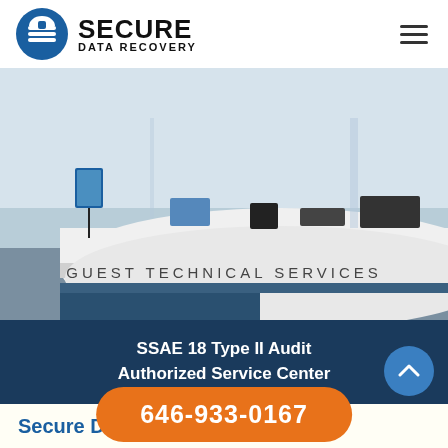[Figure (logo): Secure Data Recovery logo with blue circle lock icon and bold text]
[Figure (photo): Interior photo of a service desk area labeled GUEST TECHNICAL SERVICES with a rounded white counter and various items on top]
SSAE 18 Type II Audit
Authorized Service Center
Secure Data Recovery Services
646-933-0167